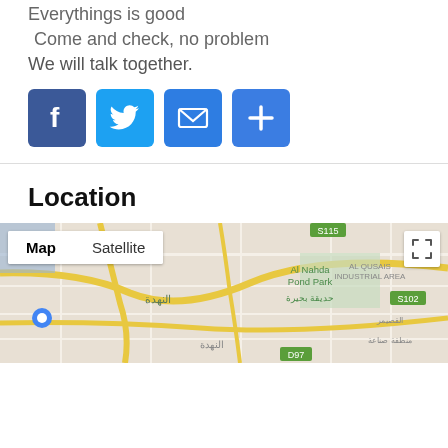Everythings is good
Come and check, no problem
We will talk together.
[Figure (infographic): Social sharing icons: Facebook (blue), Twitter (light blue), Email (blue), Plus/More (blue)]
Location
[Figure (map): Google Map showing Al Nahda Pond Park, Al Qusais Industrial Area, النهدة area in Dubai, with Map and Satellite toggle buttons and a fullscreen icon]